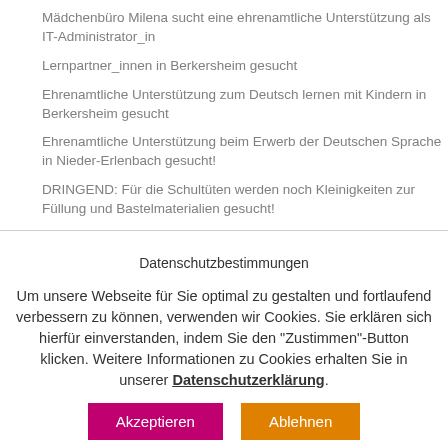Mädchenbüro Milena sucht eine ehrenamtliche Unterstützung als IT-Administrator_in
Lernpartner_innen in Berkersheim gesucht
Ehrenamtliche Unterstützung zum Deutsch lernen mit Kindern in Berkersheim gesucht
Ehrenamtliche Unterstützung beim Erwerb der Deutschen Sprache in Nieder-Erlenbach gesucht!
DRINGEND: Für die Schultüten werden noch Kleinigkeiten zur Füllung und Bastelmaterialien gesucht!
Datenschutzbestimmungen
Um unsere Webseite für Sie optimal zu gestalten und fortlaufend verbessern zu können, verwenden wir Cookies. Sie erklären sich hierfür einverstanden, indem Sie den "Zustimmen"-Button klicken. Weitere Informationen zu Cookies erhalten Sie in unserer Datenschutzerklärung.